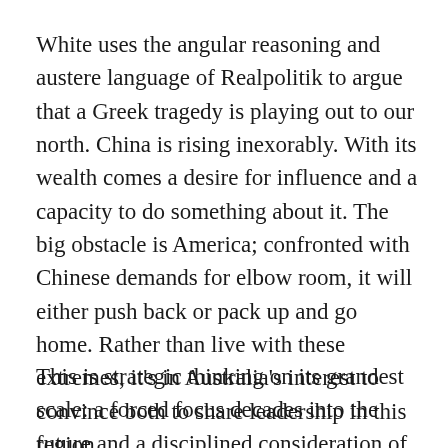White uses the angular reasoning and austere language of Realpolitik to argue that a Greek tragedy is playing out to our north. China is rising inexorably. With its wealth comes a desire for influence and a capacity to do something about it. The big obstacle is America; confronted with Chinese demands for elbow room, it will either push back or pack up and go home. Rather than live with these extremes, it’s in Australia’s interest to convince both to share leadership in this region.
This is strategic thinking on its grandest scale: a forced focus decades into the future and a disciplined consideration of what we should be